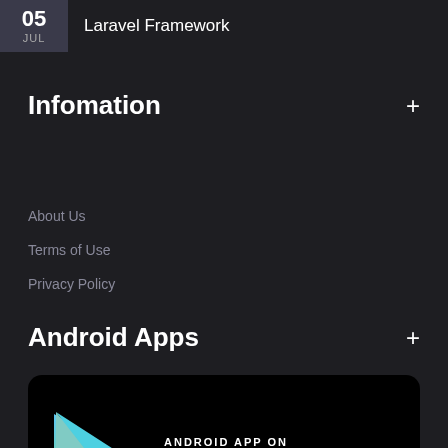05 JUL  Laravel Framework
Infomation
About Us
Terms of Use
Privacy Policy
Android Apps
[Figure (logo): Google Play Store badge with colorful play button triangle icon and text 'ANDROID APP ON Google play']